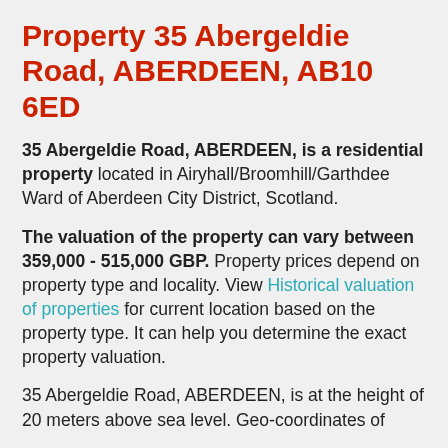Property 35 Abergeldie Road, ABERDEEN, AB10 6ED
35 Abergeldie Road, ABERDEEN, is a residential property located in Airyhall/Broomhill/Garthdee Ward of Aberdeen City District, Scotland.
The valuation of the property can vary between 359,000 - 515,000 GBP. Property prices depend on property type and locality. View Historical valuation of properties for current location based on the property type. It can help you determine the exact property valuation.
35 Abergeldie Road, ABERDEEN, is at the height of 20 meters above sea level. Geo-coordinates of